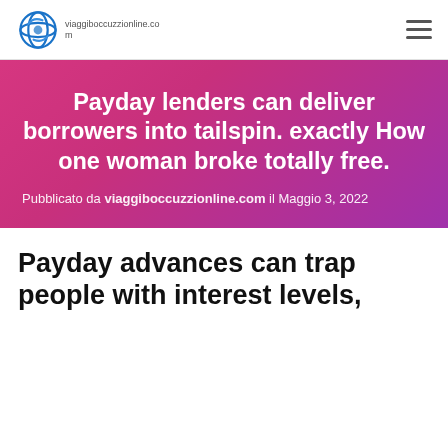[Figure (logo): viaggiboccuzzionline.com logo with blue circular globe icon and site name text]
Payday lenders can deliver borrowers into tailspin. exactly How one woman broke totally free.
Pubblicato da viaggiboccuzzionline.com il Maggio 3, 2022
Payday advances can trap people with interest levels,